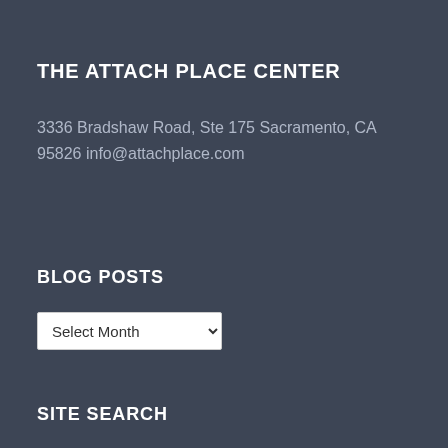THE ATTACH PLACE CENTER
3336 Bradshaw Road, Ste 175 Sacramento, CA 95826 info@attachplace.com
BLOG POSTS
Select Month
SITE SEARCH